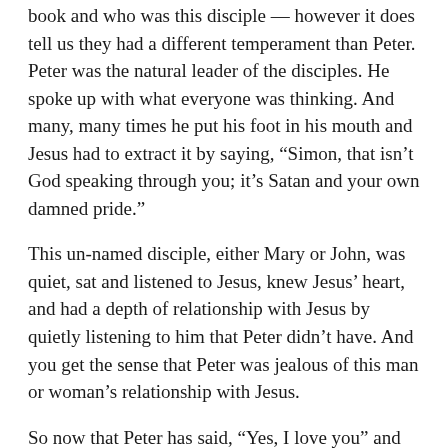book and who was this disciple — however it does tell us they had a different temperament than Peter. Peter was the natural leader of the disciples. He spoke up with what everyone was thinking. And many, many times he put his foot in his mouth and Jesus had to extract it by saying, “Simon, that isn’t God speaking through you; it’s Satan and your own damned pride.”
This un-named disciple, either Mary or John, was quiet, sat and listened to Jesus, knew Jesus’ heart, and had a depth of relationship with Jesus by quietly listening to him that Peter didn’t have. And you get the sense that Peter was jealous of this man or woman’s relationship with Jesus.
So now that Peter has said, “Yes, I love you” and “Yes I will feed your sheep,” of course he turns and points to either John Zebedee or Mary Magdalene and says, “Well, what about them? I know you think they are special. I see how you hang around them. Aren’t you going to tell them something? What is their role?”